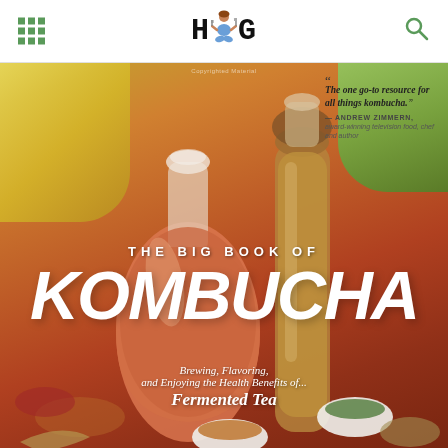HUG (logo with figure)
[Figure (photo): Book cover of 'The Big Book of Kombucha: Brewing, Flavoring, and Enjoying the Health Benefits of Fermented Tea'. Shows two glass bottles filled with amber kombucha liquid, surrounded by spices, ginger, lemon, mint leaves, and small white bowls of powder and herbs on a rustic surface. Quote from Andrew Zimmern reads: 'The one go-to resource for all things kombucha.' — Andrew Zimmern, award-winning television food, chef and author]
THE BIG BOOK OF KOMBUCHA
Brewing, Flavoring, and Enjoying the Health Benefits of Fermented Tea